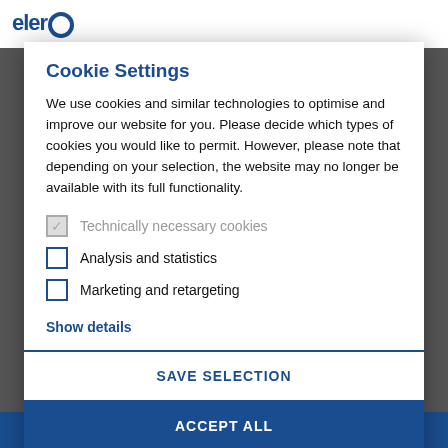Cookie Settings
We use cookies and similar technologies to optimise and improve our website for you. Please decide which types of cookies you would like to permit. However, please note that depending on your selection, the website may no longer be available with its full functionality.
Technically necessary cookies
Analysis and statistics
Marketing and retargeting
Show details
SAVE SELECTION
ACCEPT ALL
For more information about cookies, please see our privacy policy. Your selection can be changed at any time through the cookie